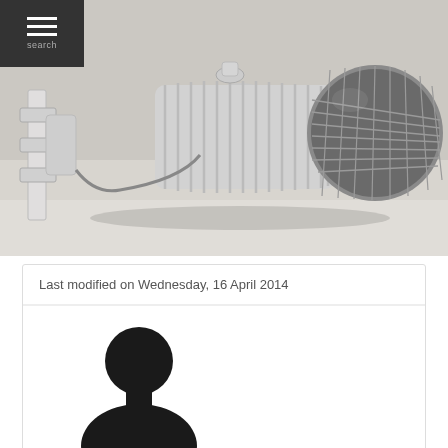[Figure (photo): Photo of a silver LED track light fixture with ribbed cylindrical body, mounting bracket on left, and globe-shaped LED head on right, placed on a light surface]
Last modified on Wednesday, 16 April 2014
[Figure (photo): Generic silhouette avatar of a person (head and shoulders), black on white background]